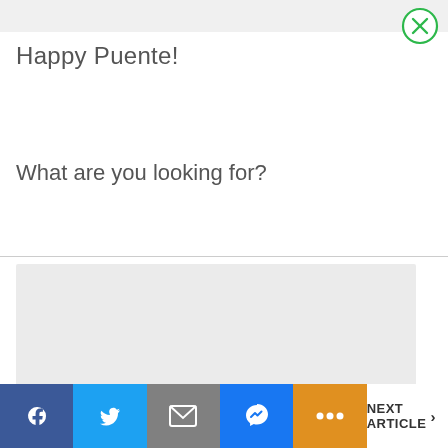[Figure (screenshot): Top gray bar of a website/app UI]
[Figure (illustration): Close button: green circle with X inside, top-right corner]
Happy Puente!
What are you looking for?
[Figure (screenshot): Light gray content box below divider line]
Facebook | Twitter | Mail | Messenger | More | NEXT ARTICLE >